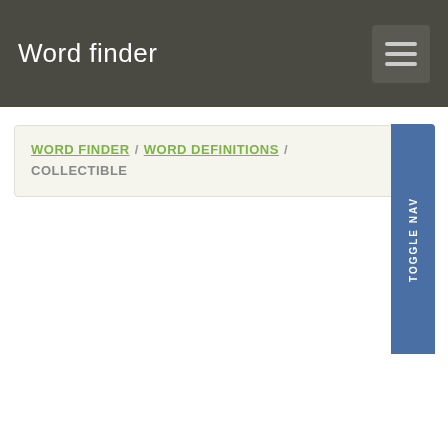Word finder
WORD FINDER / WORD DEFINITIONS / COLLECTIBLE
TOGGLE NAV